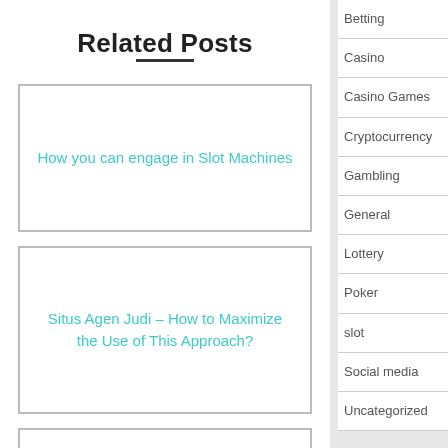Related Posts
How you can engage in Slot Machines
Situs Agen Judi – How to Maximize the Use of This Approach?
Betting
Casino
Casino Games
Cryptocurrency
Gambling
General
Lottery
Poker
slot
Social media
Uncategorized